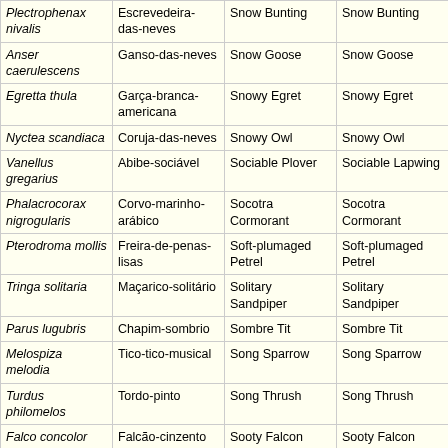| Plectrophenax nivalis | Escrevedeira-das-neves | Snow Bunting | Snow Bunting |
| Anser caerulescens | Ganso-das-neves | Snow Goose | Snow Goose |
| Egretta thula | Garça-branca-americana | Snowy Egret | Snowy Egret |
| Nyctea scandiaca | Coruja-das-neves | Snowy Owl | Snowy Owl |
| Vanellus gregarius | Abibe-sociável | Sociable Plover | Sociable Lapwing |
| Phalacrocorax nigrogularis | Corvo-marinho-arábico | Socotra Cormorant | Socotra Cormorant |
| Pterodroma mollis | Freira-de-penas-lisas | Soft-plumaged Petrel | Soft-plumaged Petrel |
| Tringa solitaria | Maçarico-solitário | Solitary Sandpiper | Solitary Sandpiper |
| Parus lugubris | Chapim-sombrio | Sombre Tit | Sombre Tit |
| Melospiza melodia | Tico-tico-musical | Song Sparrow | Song Sparrow |
| Turdus philomelos | Tordo-pinto | Song Thrush | Song Thrush |
| Falco concolor | Falcão-cinzento | Sooty Falcon | Sooty Falcon |
| Larus hemprichii | Gaivota-fuliginosa | Sooty Gull | Sooty Gull |
| Puffinus griseus | Pardela-preta | Sooty Shearwater | Sooty Shearwater |
|  | Gaivina-de-... |  |  |